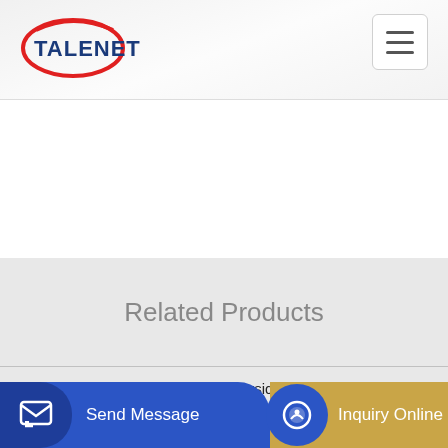TALENET
Related Products
Advanced Concrete Pumping Riverside CA
101 concrete pump
Send Message | Inquiry Online